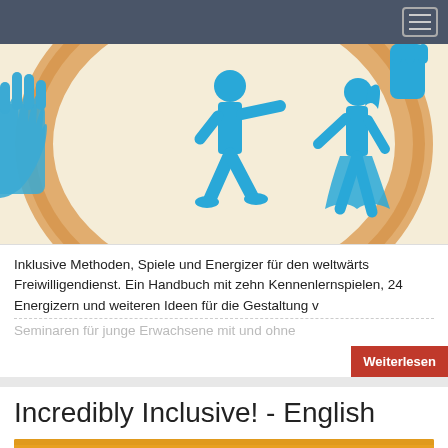Navigation bar with hamburger menu
[Figure (illustration): Illustration showing blue silhouettes of people walking/moving on a cream/beige background with orange brushstroke circles. A hand silhouette is visible on the left edge and another figure at the top right.]
Inklusive Methoden, Spiele und Energizer für den weltwärts Freiwilligendienst. Ein Handbuch mit zehn Kennenlernspielen, 24 Energizern und weiteren Ideen für die Gestaltung v... Seminaren für junge Erwachsene mit und ohne
Incredibly Inclusive! - English
[Figure (illustration): Partial orange/yellow colored illustration strip at the bottom of the page]